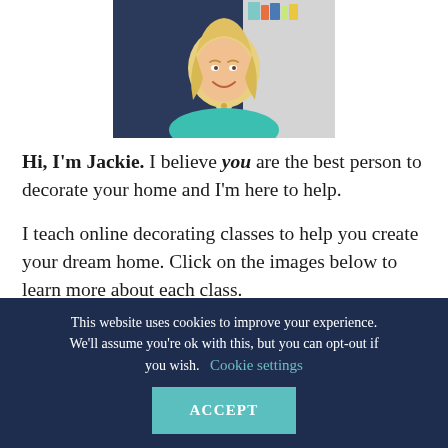[Figure (photo): Smiling blonde woman in a teal blazer, photographed from the waist up against a dark navy and light grey background.]
Hi, I'm Jackie. I believe you are the best person to decorate your home and I'm here to help.
I teach online decorating classes to help you create your dream home. Click on the images below to learn more about each class.
This website uses cookies to improve your experience. We'll assume you're ok with this, but you can opt-out if you wish. Cookie settings ACCEPT